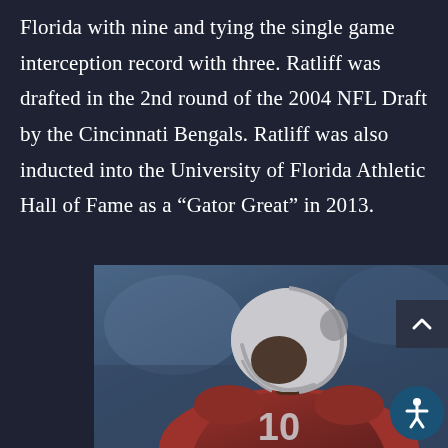Florida with nine and tying the single game interception record with three. Ratliff was drafted in the 2nd round of the 2004 NFL Draft by the Cincinnati Bengals. Ratliff was also inducted into the University of Florida Athletic Hall of Fame as a “Gator Great” in 2013.
[Figure (photo): A football player wearing a red jersey with number 10 and a white helmet with a face mask, photographed in action on the field with a blurred blue background.]